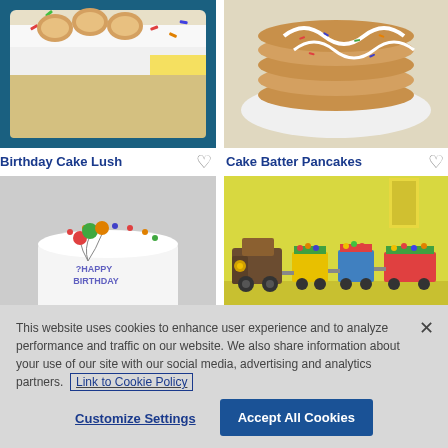[Figure (photo): Birthday Cake Lush dessert in a white baking dish with sprinkles and cream topping, sliced to show layers]
[Figure (photo): Cake Batter Pancakes stacked on a white plate with white glaze drizzled over and colorful sprinkles]
Birthday Cake Lush ♡
Cake Batter Pancakes ♡
[Figure (photo): Round white birthday cake decorated with Happy Birthday text and balloon decorations]
[Figure (photo): Colorful train cake made of colorful rectangular car cakes with candy decorations on yellow background]
This website uses cookies to enhance user experience and to analyze performance and traffic on our website. We also share information about your use of our site with our social media, advertising and analytics partners. Link to Cookie Policy
Customize Settings
Accept All Cookies